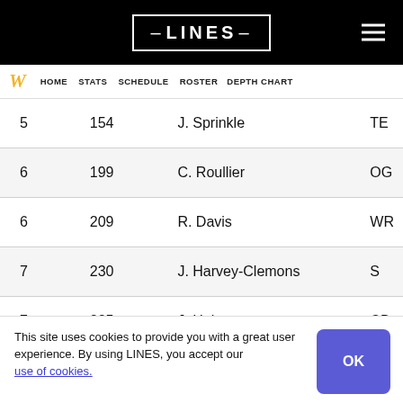LINES
| Rank | Number | Name | Position |
| --- | --- | --- | --- |
| 5 | 154 | J. Sprinkle | TE |
| 6 | 199 | C. Roullier | OG |
| 6 | 209 | R. Davis | WR |
| 7 | 230 | J. Harvey-Clemons | S |
| 7 | 235 | J. Holsey | CB |
This site uses cookies to provide you with a great user experience. By using LINES, you accept our use of cookies.